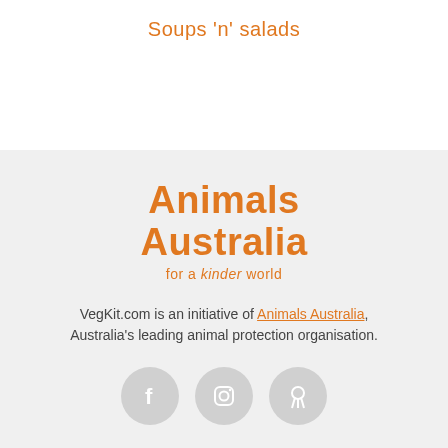Soups 'n' salads
[Figure (logo): Animals Australia for a kinder world logo in orange text]
VegKit.com is an initiative of Animals Australia, Australia's leading animal protection organisation.
[Figure (illustration): Three social media icons: Facebook, Instagram, Pinterest in grey circles]